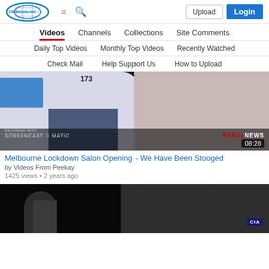1688news.net — Upload | Login
Videos | Channels | Collections | Site Comments
Daily Top Videos | Monthly Top Videos | Recently Watched
Check Mail | Help Support Us | How to Upload
[Figure (screenshot): Video thumbnail showing two people, one in white t-shirt and one in pink/white shirt, with REBEL NEWS watermark and 08:28 duration badge, recorded with Screencast-O-Matic]
Melbourne Lockdown Salon Opening - We Have Been Stooged
by Videos From Peekay
1425 views • 2 years ago
[Figure (screenshot): Second video thumbnail partially visible, dark background with a person and CIA badge visible]